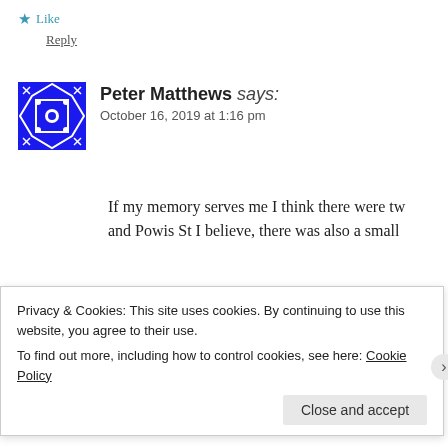★ Like
Reply
[Figure (illustration): Blue geometric avatar icon for Peter Matthews]
Peter Matthews says: October 16, 2019 at 1:16 pm
If my memory serves me I think there were tw... and Powis St I believe, there was also a small
★ Like
Reply
[Figure (illustration): Green geometric avatar icon for Alan R]
Alan R says: July 17, 2020 at 9:10 pm
Privacy & Cookies: This site uses cookies. By continuing to use this website, you agree to their use. To find out more, including how to control cookies, see here: Cookie Policy
Close and accept